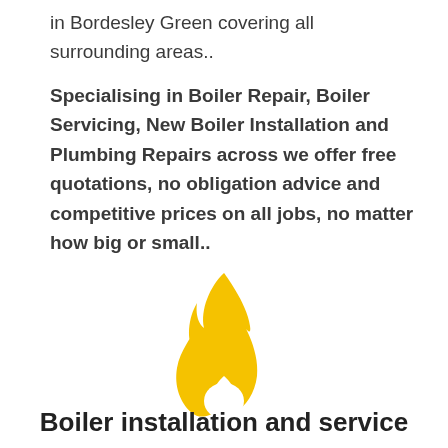in Bordesley Green covering all surrounding areas.. Specialising in Boiler Repair, Boiler Servicing, New Boiler Installation and Plumbing Repairs across we offer free quotations, no obligation advice and competitive prices on all jobs, no matter how big or small..
[Figure (illustration): A large golden/yellow flame icon centered on the page]
Boiler installation and service